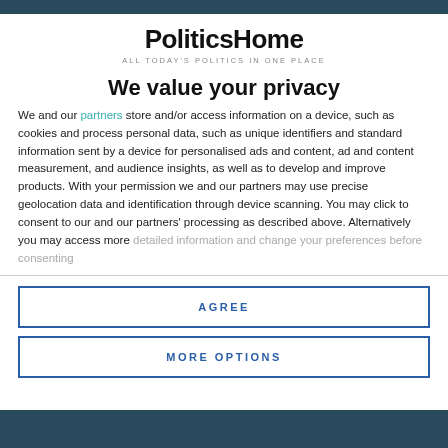[Figure (logo): PoliticsHome logo with tagline 'ALL TODAY'S POLITICS IN ONE PLACE']
We value your privacy
We and our partners store and/or access information on a device, such as cookies and process personal data, such as unique identifiers and standard information sent by a device for personalised ads and content, ad and content measurement, and audience insights, as well as to develop and improve products. With your permission we and our partners may use precise geolocation data and identification through device scanning. You may click to consent to our and our partners' processing as described above. Alternatively you may access more detailed information and change your preferences before consenting
AGREE
MORE OPTIONS